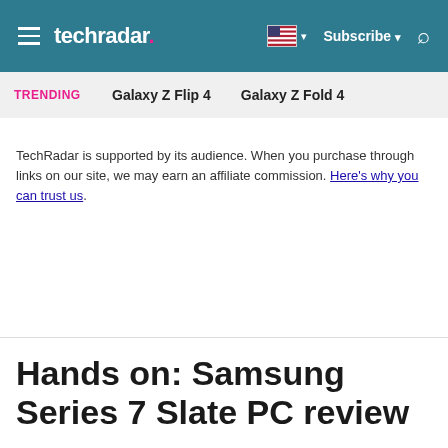techradar
TRENDING   Galaxy Z Flip 4   Galaxy Z Fold 4
TechRadar is supported by its audience. When you purchase through links on our site, we may earn an affiliate commission. Here's why you can trust us.
Hands on: Samsung Series 7 Slate PC review